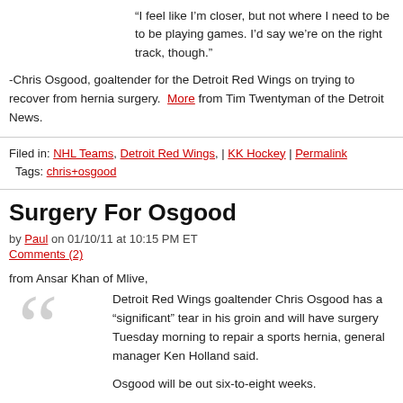“I feel like I’m closer, but not where I need to be to be playing games. I’d say we’re on the right track, though.”
-Chris Osgood, goaltender for the Detroit Red Wings on trying to recover from hernia surgery. More from Tim Twentyman of the Detroit News.
Filed in: NHL Teams, Detroit Red Wings, | KK Hockey | Permalink
Tags: chris+osgood
Surgery For Osgood
by Paul on 01/10/11 at 10:15 PM ET
Comments (2)
from Ansar Khan of Mlive,
Detroit Red Wings goaltender Chris Osgood has a “significant” tear in his groin and will have surgery Tuesday morning to repair a sports hernia, general manager Ken Holland said.
Osgood will be out six-to-eight weeks.
Osgood, whose groin has been bothering him for a couple of months, flew to Philadelphia today to see a specialist, Dr. William Meyers, the doctor who has performed the same surgery on, among others, Kris Draper and